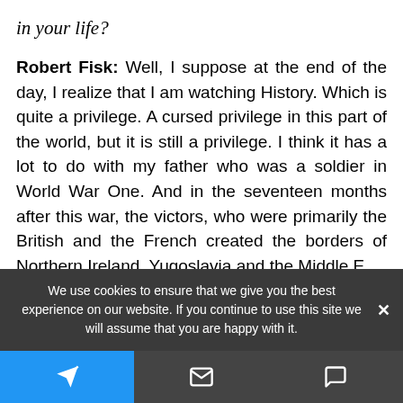in your life?
Robert Fisk: Well, I suppose at the end of the day, I realize that I am watching History. Which is quite a privilege. A cursed privilege in this part of the world, but it is still a privilege. I think it has a lot to do with my father who was a soldier in World War One. And in the seventeen months after this war, the victors, who were primarily the British and the French created the borders of Northern Ireland, Yugoslavia and the Middle E...
We use cookies to ensure that we give you the best experience on our website. If you continue to use this site we will assume that you are happy with it.